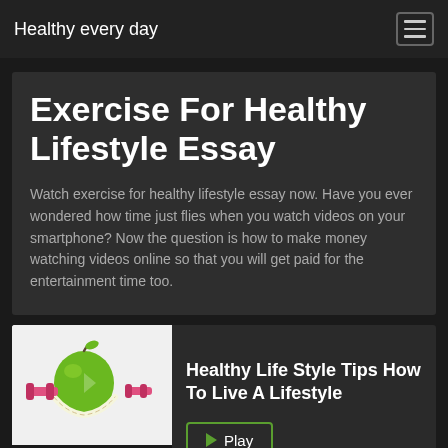Healthy every day
Exercise For Healthy Lifestyle Essay
Watch exercise for healthy lifestyle essay now. Have you ever wondered how time just flies when you watch videos on your smartphone? Now the question is how to make money watching videos online so that you will get paid for the entertainment time too.
[Figure (illustration): Thumbnail image showing a green apple with a measuring tape and pink dumbbells, with 'HEALTHY LIFESTYLE' text and colorful icons at the bottom]
Healthy Life Style Tips How To Live A Lifestyle
Play